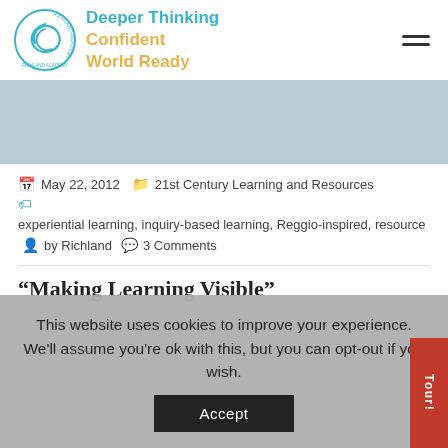[Figure (logo): Richland Academy circular logo with swirl design and text around border]
Deeper Thinking Confident World Ready
[Figure (illustration): Light blue-grey banner image area]
May 22, 2012   21st Century Learning and Resources   experiential learning, inquiry-based learning, Reggio-inspired, resource   by Richland   3 Comments
“Making Learning Visible”
This website uses cookies to improve your experience. We'll assume you're ok with this, but you can opt-out if you wish.